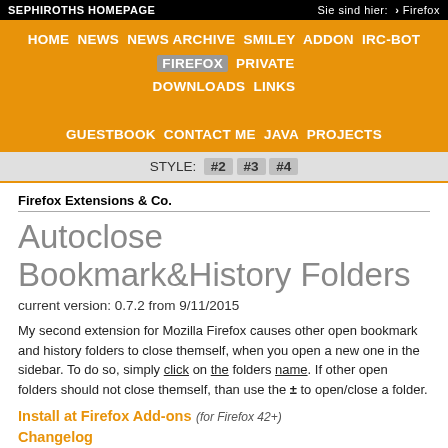SEPHIROTHS HOMEPAGE   Sie sind hier: > Firefox
HOME NEWS NEWS ARCHIVE SMILEY ADDON IRC-BOT FIREFOX PRIVATE DOWNLOADS LINKS GUESTBOOK CONTACT ME JAVA PROJECTS
STYLE: #2 #3 #4
Firefox Extensions & Co.
Autoclose Bookmark&History Folders
current version: 0.7.2 from 9/11/2015
My second extension for Mozilla Firefox causes other open bookmark and history folders to close themself, when you open a new one in the sidebar. To do so, simply click on the folders name. If other open folders should not close themself, than use the ± to open/close a folder.
Install at Firefox Add-ons (for Firefox 42+)
Changelog